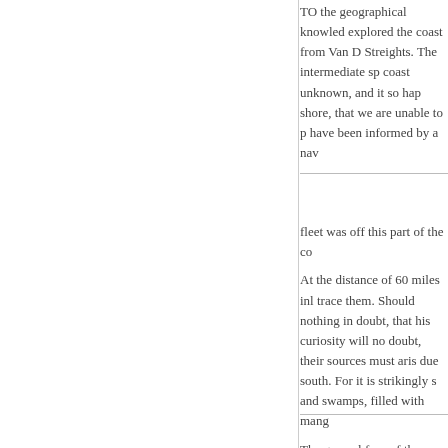TO the geographical knowledge explored the coast from Van D Streights. The intermediate sp coast unknown, and it so hap shore, that we are unable to p have been informed by a nav
fleet was off this part of the co
At the distance of 60 miles inl trace them. Should nothing in doubt, that his curiosity will no doubt, their sources must aris due south. For it is strikingly s and swamps, filled with mang
The general face of the count part with large spreading tree